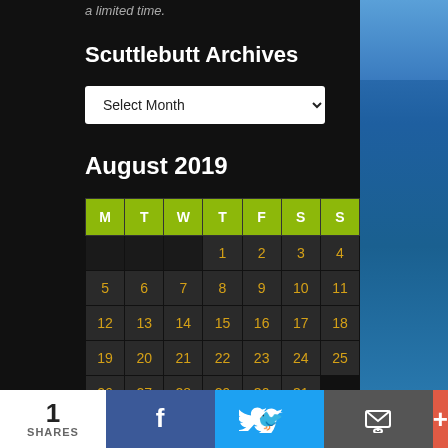a limited time.
Scuttlebutt Archives
[Figure (other): Select Month dropdown widget]
August 2019
| M | T | W | T | F | S | S |
| --- | --- | --- | --- | --- | --- | --- |
|  |  |  | 1 | 2 | 3 | 4 |
| 5 | 6 | 7 | 8 | 9 | 10 | 11 |
| 12 | 13 | 14 | 15 | 16 | 17 | 18 |
| 19 | 20 | 21 | 22 | 23 | 24 | 25 |
| 26 | 27 | 28 | 29 | 30 | 31 |  |
« Jul   Sep »
1 SHARES
[Figure (other): Social share bar with Facebook, Twitter, Email, and More buttons]